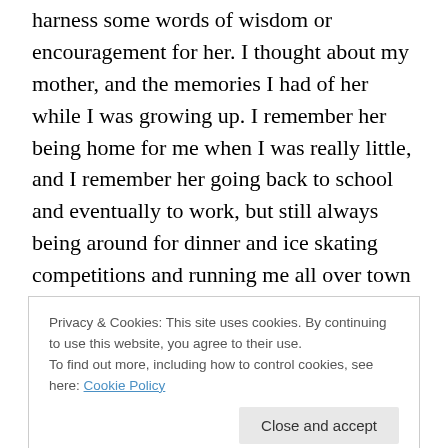harness some words of wisdom or encouragement for her. I thought about my mother, and the memories I had of her while I was growing up. I remember her being home for me when I was really little, and I remember her going back to school and eventually to work, but still always being around for dinner and ice skating competitions and running me all over town for various activities. I remember feeling proud for the job that she did, proud that she was my mom. And I never felt like she was flustered, or overly burdened with working and raising a family and being a wife and taking care of a home. She seemed happy to go
Privacy & Cookies: This site uses cookies. By continuing to use this website, you agree to their use.
To find out more, including how to control cookies, see here: Cookie Policy
[Figure (photo): Partial photo of a person's face visible at the bottom of the page]